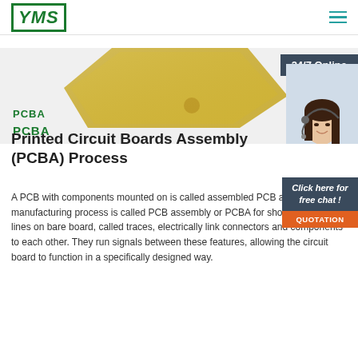[Figure (logo): YMS logo with green border and italic text]
[Figure (photo): Hero section with gold PCB board image, 24/7 Online banner, and customer service representative with headset on the right side]
PCBA
Printed Circuit Boards Assembly (PCBA) Process
A PCB with components mounted on is called assembled PCB and the manufacturing process is called PCB assembly or PCBA for short. The copper lines on bare board, called traces, electrically link connectors and components to each other. They run signals between these features, allowing the circuit board to function in a specifically designed way.
[Figure (infographic): Chat popup with text 'Click here for free chat!' and orange QUOTATION button]